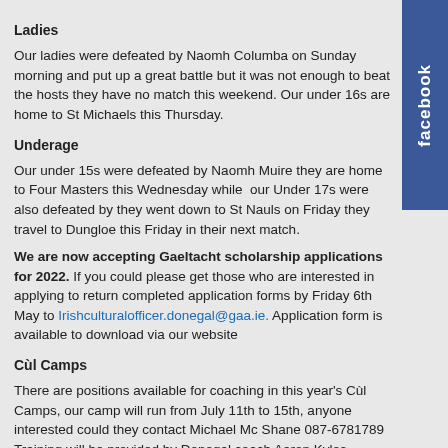Ladies
Our ladies were defeated by Naomh Columba on Sunday morning and put up a great battle but it was not enough to beat the hosts they have no match this weekend. Our under 16s are home to St Michaels this Thursday.
Underage
Our under 15s were defeated by Naomh Muire they are home to Four Masters this Wednesday while  our Under 17s were also defeated by they went down to St Nauls on Friday they travel to Dungloe this Friday in their next match.
We are now accepting Gaeltacht scholarship applications for 2022. If you could please get those who are interested in applying to return completed application forms by Friday 6th May to Irishculturalofficer.donegal@gaa.ie. Application form is available to download via our website
Cùl Camps
There are positions available for coaching in this year's Cùl Camps, our camp will run from July 11th to 15th, anyone interested could they contact Michael Mc Shane 087-6781789 Training will be provided by Donegal coach Aaron Kyles. Coaches must be 18 years of age or over and will receive €250 per week.